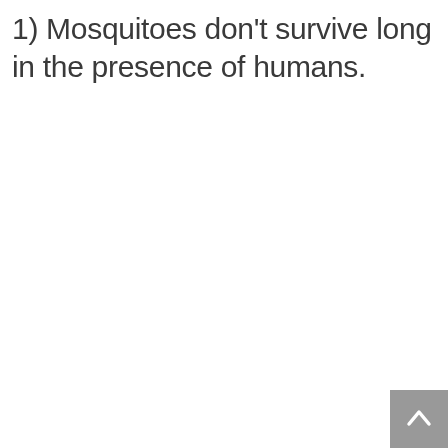1) Mosquitoes don't survive long in the presence of humans.
[Figure (other): Back to top button arrow icon in grey square at bottom right corner]